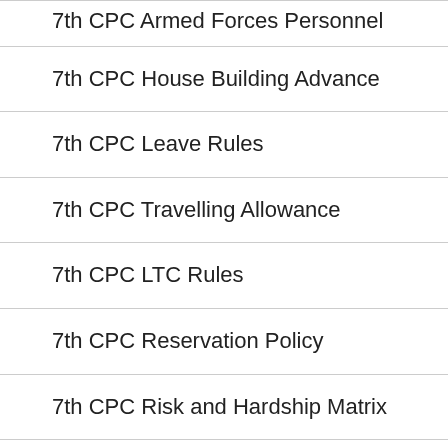7th CPC Armed Forces Personnel
7th CPC House Building Advance
7th CPC Leave Rules
7th CPC Travelling Allowance
7th CPC LTC Rules
7th CPC Reservation Policy
7th CPC Risk and Hardship Matrix
7th CPC New Pension Scheme
7th Pay Commission Fitment Table
7th CPC Allowances
7th CPC Advances